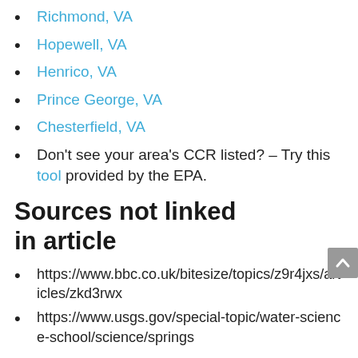Richmond, VA
Hopewell, VA
Henrico, VA
Prince George, VA
Chesterfield, VA
Don't see your area's CCR listed? – Try this tool provided by the EPA.
Sources not linked in article
https://www.bbc.co.uk/bitesize/topics/z9r4jxs/articles/zkd3rwx
https://www.usgs.gov/special-topic/water-science-school/science/springs